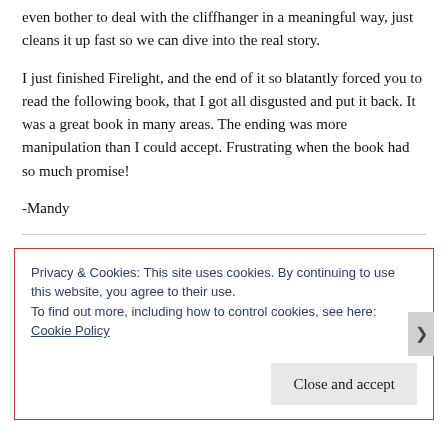even bother to deal with the cliffhanger in a meaningful way, just cleans it up fast so we can dive into the real story.

I just finished Firelight, and the end of it so blatantly forced you to read the following book, that I got all disgusted and put it back. It was a great book in many areas. The ending was more manipulation than I could accept. Frustrating when the book had so much promise!

-Mandy
Privacy & Cookies: This site uses cookies. By continuing to use this website, you agree to their use.
To find out more, including how to control cookies, see here: Cookie Policy

Close and accept